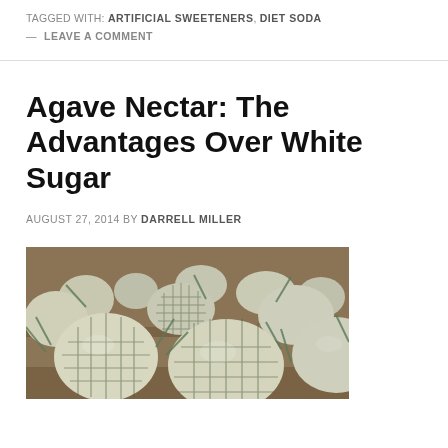TAGGED WITH: ARTIFICIAL SWEETENERS, DIET SODA
— LEAVE A COMMENT
Agave Nectar: The Advantages Over White Sugar
AUGUST 27, 2014 BY DARRELL MILLER
[Figure (photo): Photograph of harvested agave plants (piñas) lying on the ground, showing their distinctive patterned, round forms with spiky blue-green leaves scattered around them.]